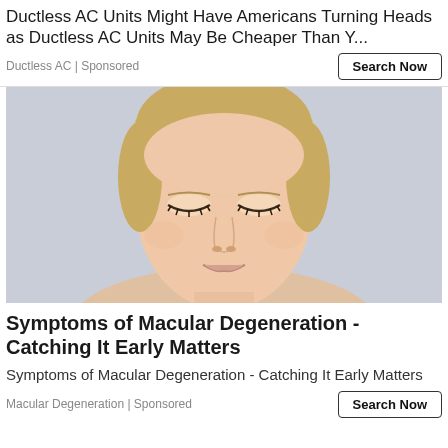Ductless AC Units Might Have Americans Turning Heads as Ductless AC Units May Be Cheaper Than Y...
Ductless AC | Sponsored
[Figure (photo): Portrait photo of a middle-aged blonde woman with closed eyes, short hair pulled back, against a light gray background, bare shoulders.]
Symptoms of Macular Degeneration - Catching It Early Matters
Symptoms of Macular Degeneration - Catching It Early Matters
Macular Degeneration | Sponsored